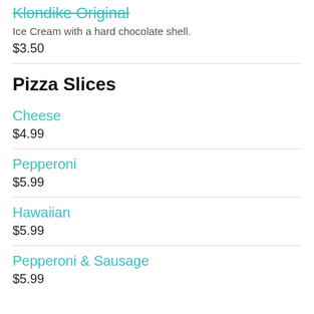Klondike Original
Ice Cream with a hard chocolate shell.
$3.50
Pizza Slices
Cheese
$4.99
Pepperoni
$5.99
Hawaiian
$5.99
Pepperoni & Sausage
$5.99